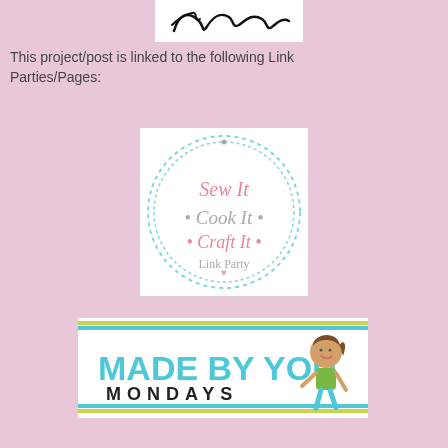[Figure (logo): Partial signature/handwriting logo at top center, black cursive on white background]
This project/post is linked to the following Link Parties/Pages:
[Figure (logo): Sew It Cook It Craft It Link Party logo - circular dotted teal border with pink and gray text on white background]
[Figure (logo): Made By You Mondays logo - teal and yellow-green striped border with teal and black text, cartoon girl illustration]